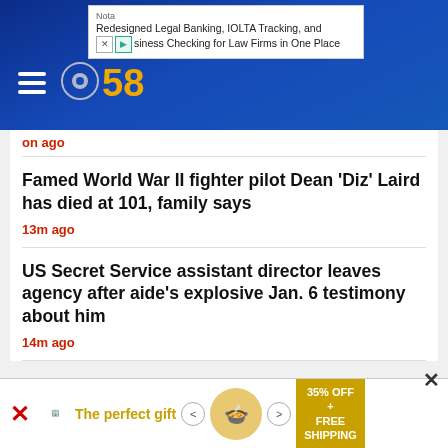[Figure (screenshot): CBS 58 news website screenshot with navigation header (dark blue), hamburger menu, CBS 58 logo, advertisement banner at top, news headlines, and bottom advertisement]
Nota
Redesigned Legal Banking, IOLTA Tracking, and Business Checking for Law Firms in One Place
on ago
Famed World War II fighter pilot Dean 'Diz' Laird has died at 101, family says
13m ago
US Secret Service assistant director leaves agency after aide's explosive Jan. 6 testimony about him
14m ago
The perfect gift  35% OFF + FREE SHIPPING